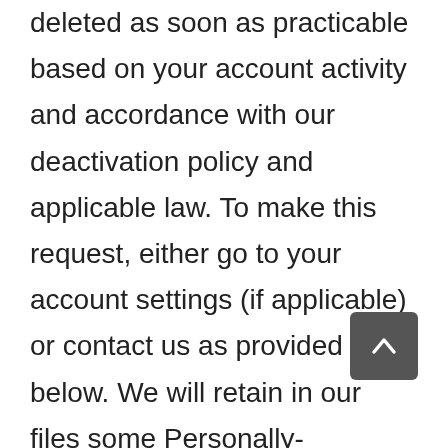deleted as soon as practicable based on your account activity and accordance with our deactivation policy and applicable law. To make this request, either go to your account settings (if applicable) or contact us as provided below. We will retain in our files some Personally-Identifying Information to prevent fraud, to troubleshoot problems, to assist with any investigations, to enforce our Terms of Use and to comply with legal requirements as is permitted by law. Therefore, you should not expect that all your Personally-Identifying Information will be completely removed from our databases in response to your requests.